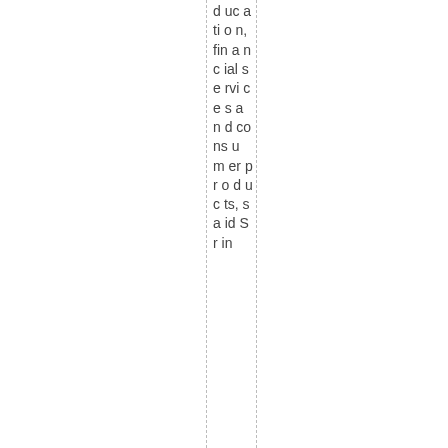d uc ati o n, fin a nc ial se rvi ce s a n d co ns u m er pr o d uc ts, sa id Sr in